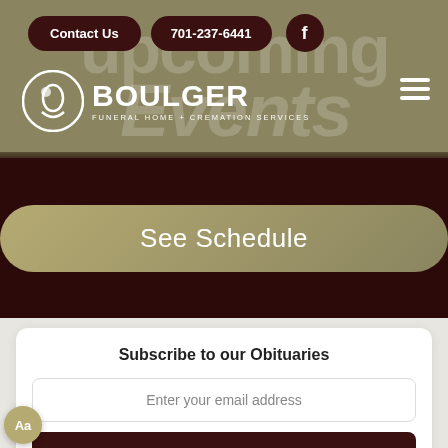[Figure (screenshot): Boulger Funeral Home & Cremation Services website screenshot showing navigation header with Contact Us and phone number buttons, logo, Upcoming Events watermark, See Schedule button, and Subscribe to our Obituaries form]
Contact Us
701-237-6441
BOULGER FUNERAL HOME + CREMATION SERVICES
See Schedule
Subscribe to our Obituaries
Enter your email address
Subscribe